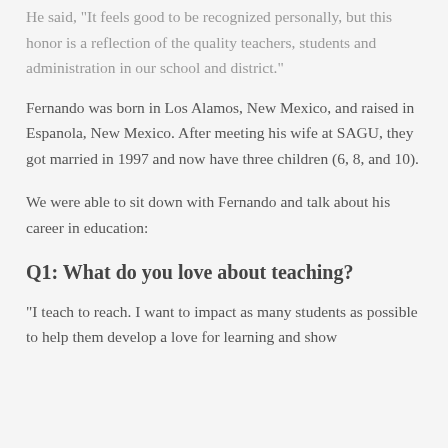He said, "It feels good to be recognized personally, but this honor is a reflection of the quality teachers, students and administration in our school and district."
Fernando was born in Los Alamos, New Mexico, and raised in Espanola, New Mexico. After meeting his wife at SAGU, they got married in 1997 and now have three children (6, 8, and 10).
We were able to sit down with Fernando and talk about his career in education:
Q1: What do you love about teaching?
"I teach to reach. I want to impact as many students as possible to help them develop a love for learning and show